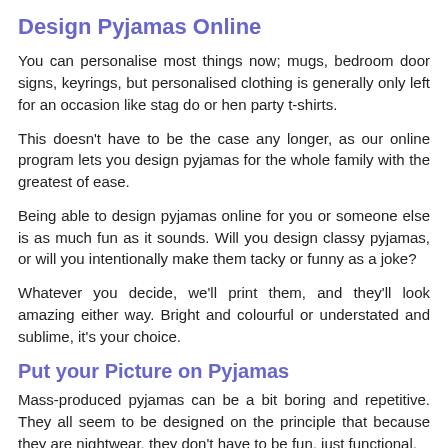Design Pyjamas Online
You can personalise most things now; mugs, bedroom door signs, keyrings, but personalised clothing is generally only left for an occasion like stag do or hen party t-shirts.
This doesn't have to be the case any longer, as our online program lets you design pyjamas for the whole family with the greatest of ease.
Being able to design pyjamas online for you or someone else is as much fun as it sounds. Will you design classy pyjamas, or will you intentionally make them tacky or funny as a joke?
Whatever you decide, we'll print them, and they'll look amazing either way. Bright and colourful or understated and sublime, it's your choice.
Put your Picture on Pyjamas
Mass-produced pyjamas can be a bit boring and repetitive. They all seem to be designed on the principle that because they are nightwear, they don't have to be fun, just functional.